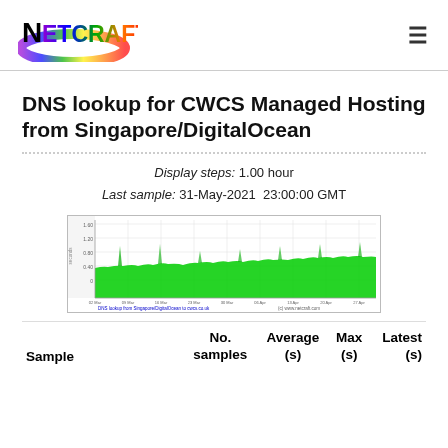Netcraft
DNS lookup for CWCS Managed Hosting from Singapore/DigitalOcean
Display steps: 1.00 hour
Last sample: 31-May-2021 23:00:00 GMT
[Figure (continuous-plot): Time series line/area chart showing DNS lookup response times in seconds from Singapore/DigitalOcean to cwcs.co.uk. The chart shows a relatively stable green area spanning the full time range with values fluctuating around 0.40 seconds. X-axis shows dates from approximately May 2021. Y-axis shows seconds up to 1.60.]
| Sample | No. samples | Average (s) | Max (s) | Latest (s) |
| --- | --- | --- | --- | --- |